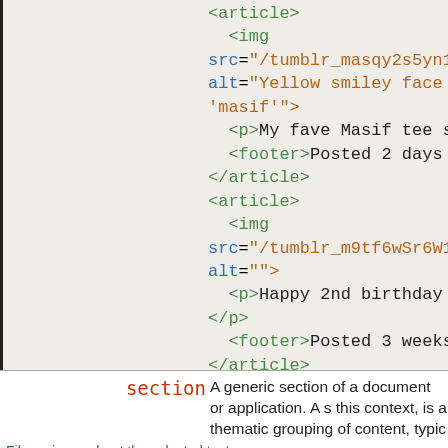[Figure (screenshot): Code snippet showing HTML article elements with img, src, alt, p, and footer tags on a tan/beige background. Two article blocks shown with image src attributes, alt text, paragraph content, and footer elements with posted time.]
section  A generic section of a document or application. A s this context, is a thematic grouping of content, typic
File an issue about the selected text